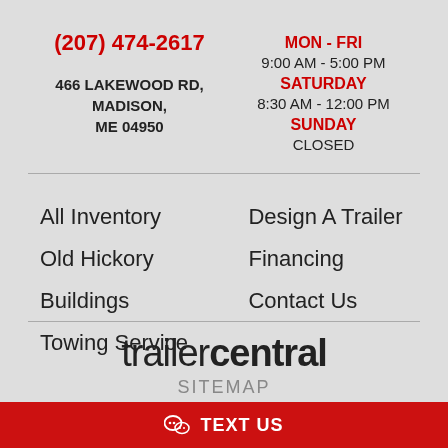(207) 474-2617
466 LAKEWOOD RD, MADISON, ME 04950
MON - FRI
9:00 AM - 5:00 PM
SATURDAY
8:30 AM - 12:00 PM
SUNDAY
CLOSED
All Inventory
Old Hickory
Buildings
Towing Service
Design A Trailer
Financing
Contact Us
trailercentral
SITEMAP
TEXT US